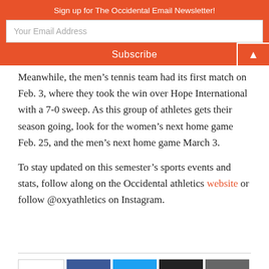Sign up for The Occidental Email Newsletter!
Meanwhile, the men's tennis team had its first match on Feb. 3, where they took the win over Hope International with a 7-0 sweep. As this group of athletes gets their season going, look for the women's next home game Feb. 25, and the men's next home game March 3.
To stay updated on this semester's sports events and stats, follow along on the Occidental athletics website or follow @oxyathletics on Instagram.